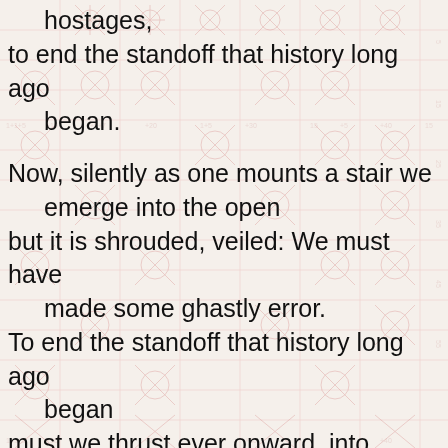hostages,
to end the standoff that history long ago began.

Now, silently as one mounts a stair we emerge into the open
but it is shrouded, veiled: We must have made some ghastly error.
To end the standoff that history long ago began
must we thrust ever onward, into perversity?

But it is shrouded, veiled: We must have made some ghastly error.